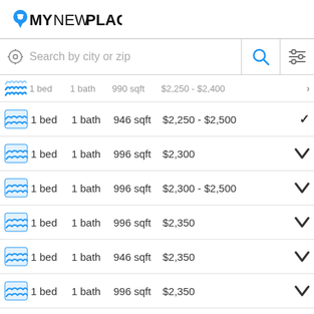[Figure (logo): MyNewPlace logo with map pin icon]
[Figure (screenshot): Search bar with location icon, search by city or zip placeholder, blue search icon, and filter icon]
1 bed  1 bath  990 sqft  $2,250 - $2,400
1 bed  1 bath  946 sqft  $2,250 - $2,500
1 bed  1 bath  996 sqft  $2,300
1 bed  1 bath  996 sqft  $2,300 - $2,500
1 bed  1 bath  996 sqft  $2,350
1 bed  1 bath  946 sqft  $2,350
1 bed  1 bath  996 sqft  $2,350
1 bed  1 bath  996 sqft  $2,400
1 bed  1 bath  907 sqft  $2,450